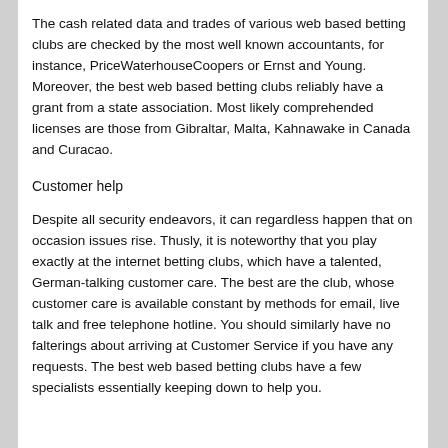The cash related data and trades of various web based betting clubs are checked by the most well known accountants, for instance, PriceWaterhouseCoopers or Ernst and Young. Moreover, the best web based betting clubs reliably have a grant from a state association. Most likely comprehended licenses are those from Gibraltar, Malta, Kahnawake in Canada and Curacao.
Customer help
Despite all security endeavors, it can regardless happen that on occasion issues rise. Thusly, it is noteworthy that you play exactly at the internet betting clubs, which have a talented, German-talking customer care. The best are the club, whose customer care is available constant by methods for email, live talk and free telephone hotline. You should similarly have no falterings about arriving at Customer Service if you have any requests. The best web based betting clubs have a few specialists essentially keeping down to help you.